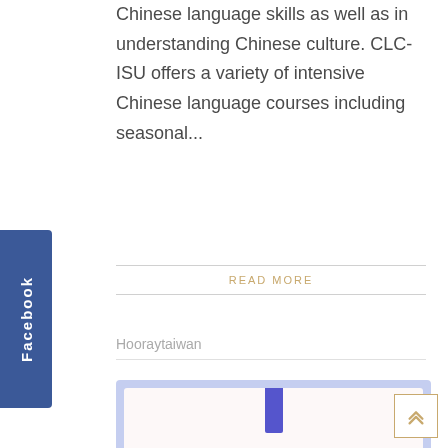Chinese language skills as well as in understanding Chinese culture. CLC-ISU offers a variety of intensive Chinese language courses including seasonal...
READ MORE
Hooraytaiwan
[Figure (illustration): A card with a blue accent bar at the top and bold uppercase italic blue text reading 'LIST OF HOSPITALS FOR HEALTH CHECKUP (STUDENT VISA)' on a light pink background with a lavender border and a decorative dot pattern at the bottom.]